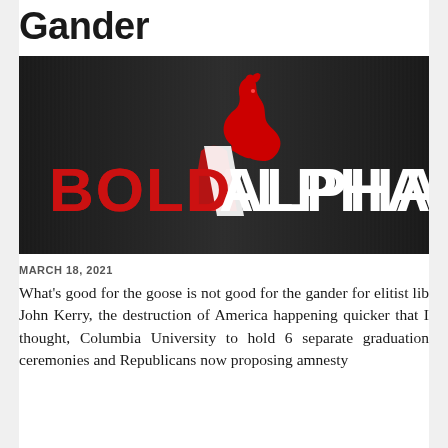Gander
[Figure (logo): Bold Alpha logo: dark brushed-metal background with a red howling wolf silhouette and the text 'BOLD' in red bold letters and 'ALPHA' in white bold letters]
MARCH 18, 2021
What's good for the goose is not good for the gander for elitist lib John Kerry, the destruction of America happening quicker that I thought, Columbia University to hold 6 separate graduation ceremonies and Republicans now proposing amnesty